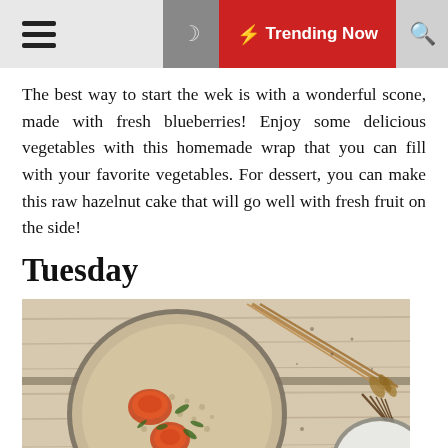☰  🌙  ⚡ Trending Now  🔍
The best way to start the wek is with a wonderful scone, made with fresh blueberries! Enjoy some delicious vegetables with this homemade wrap that you can fill with your favorite vegetables. For dessert, you can make this raw hazelnut cake that will go well with fresh fruit on the side!
Tuesday
[Figure (photo): Overhead view of a bowl of grain risotto with roasted tomatoes and fresh herbs on a rustic wooden surface, with wheat stalks and a second white bowl with tomatoes visible.]